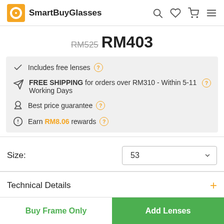SmartBuyGlasses
RM525 RM403
Includes free lenses
FREE SHIPPING for orders over RM310 - Within 5-11 Working Days
Best price guarantee
Earn RM8.06 rewards
Size: 53
Technical Details
Buy Frame Only
Add Lenses